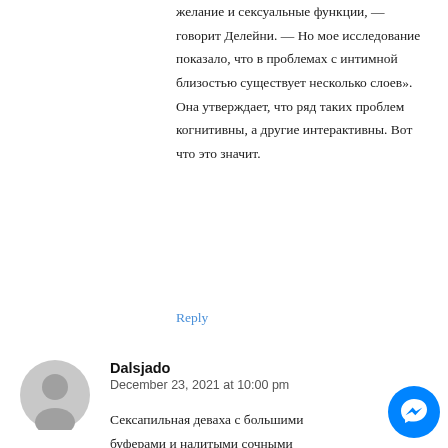желание и сексуальные функции, — говорит Делейни. — Но мое исследование показало, что в проблемах с интимной близостью существует несколько слоев». Она утверждает, что ряд таких проблем когнитивны, а другие интерактивны. Вот что это значит.
Reply
Dalsjado
December 23, 2021 at 10:00 pm
Сексапильная деваха с большими буферами и налитыми сочными ляжечками, примерив на себя новый